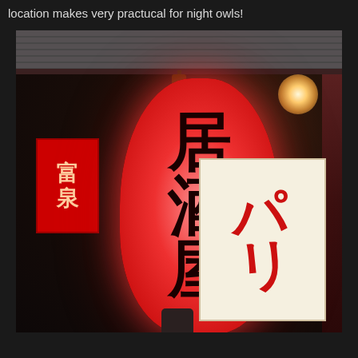location makes very practucal for night owls!
[Figure (photo): Night photo of a Japanese izakaya (居酒屋) entrance featuring a large glowing red paper lantern with kanji characters 居酒屋 (izakaya), a small red sign on the left, a decorative poster on the right side, and a light glowing in the upper right corner. Dark atmosphere typical of a Japanese bar/restaurant at night.]